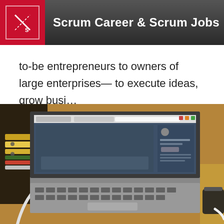Scrum Career & Scrum Jobs
to-be entrepreneurs to owners of large enterprises— to execute ideas, grow busi…
[Figure (photo): A laptop on a desk showing a web application interface, with notebooks and a coffee cup in the background]